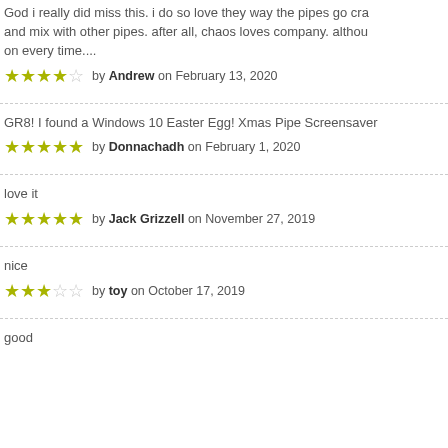God i really did miss this. i do so love they way the pipes go cra... and mix with other pipes. after all, chaos loves company. althou... on every time....
★★★★☆ by Andrew on February 13, 2020
GR8! I found a Windows 10 Easter Egg! Xmas Pipe Screensaver
★★★★★ by Donnachadh on February 1, 2020
love it
★★★★★ by Jack Grizzell on November 27, 2019
nice
★★★☆☆ by toy on October 17, 2019
good